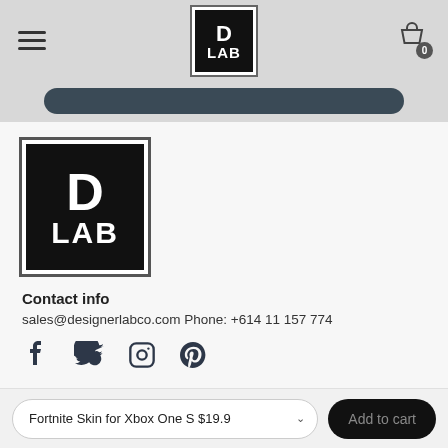D LAB — navigation header with hamburger menu, logo, and cart icon (0 items)
[Figure (logo): D LAB brand logo — black square with white border containing bold white text 'D' above 'LAB']
Contact info
sales@designerlabco.com Phone: +614 11 157 774
[Figure (infographic): Social media icons: Facebook, Twitter, Instagram, Pinterest]
Fortnite Skin for Xbox One S $19.9  ∨   Add to cart